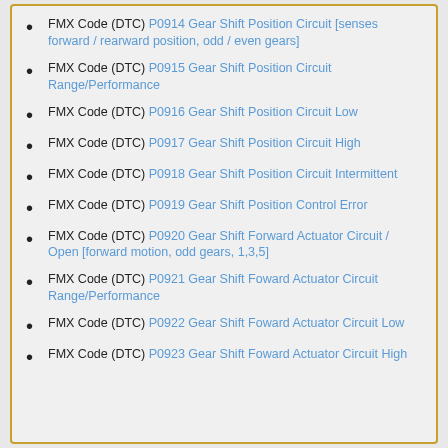FMX Code (DTC) P0914 Gear Shift Position Circuit [senses forward / rearward position, odd / even gears]
FMX Code (DTC) P0915 Gear Shift Position Circuit Range/Performance
FMX Code (DTC) P0916 Gear Shift Position Circuit Low
FMX Code (DTC) P0917 Gear Shift Position Circuit High
FMX Code (DTC) P0918 Gear Shift Position Circuit Intermittent
FMX Code (DTC) P0919 Gear Shift Position Control Error
FMX Code (DTC) P0920 Gear Shift Forward Actuator Circuit / Open [forward motion, odd gears, 1,3,5]
FMX Code (DTC) P0921 Gear Shift Foward Actuator Circuit Range/Performance
FMX Code (DTC) P0922 Gear Shift Foward Actuator Circuit Low
FMX Code (DTC) P0923 Gear Shift Foward Actuator Circuit High